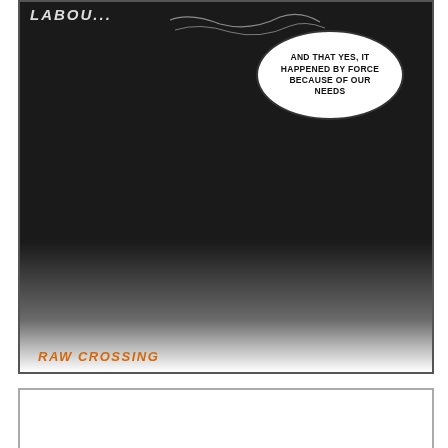[Figure (illustration): Comic panel with dark/black background. Top-left has partial text 'LABOU...' in white comic lettering. A speech bubble on the upper right contains the text 'AND THAT YES, IT HAPPENED BY FORCE BECAUSE OF OUR NEEDS'. The panel fades to white/grey at the bottom via a gradient. 'RAW CROSSING' is written in orange italic bold font at the bottom left.]
AND THAT YES, IT HAPPENED BY FORCE BECAUSE OF OUR NEEDS
LABOU...
RAW CROSSING